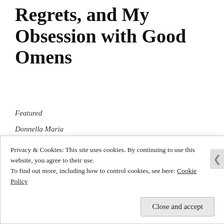Regrets, and My Obsession with Good Omens
Featured
Donnella Maria
[Figure (photo): A rectangular photograph with a muted olive/gold-green textured surface, possibly a weathered or painted flat surface.]
Privacy & Cookies: This site uses cookies. By continuing to use this website, you agree to their use.
To find out more, including how to control cookies, see here: Cookie Policy
Close and accept